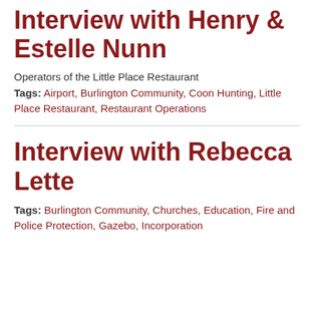Interview with Henry & Estelle Nunn
Operators of the Little Place Restaurant
Tags: Airport, Burlington Community, Coon Hunting, Little Place Restaurant, Restaurant Operations
Interview with Rebecca Lette
Tags: Burlington Community, Churches, Education, Fire and Police Protection, Gazebo, Incorporation